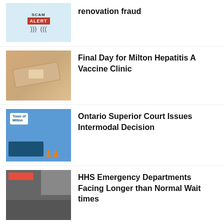renovation fraud
Final Day for Milton Hepatitis A Vaccine Clinic
Ontario Superior Court Issues Intermodal Decision
HHS Emergency Departments Facing Longer than Normal Wait times
Multiple Charges Laid in Relation to Break and Enters and Vehicle Thefts in Oakville
Suspect arrested in Burlington gunshots incident